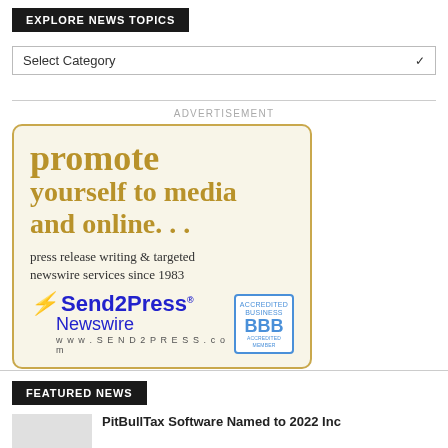EXPLORE NEWS TOPICS
Select Category
ADVERTISEMENT
[Figure (illustration): Send2Press Newswire advertisement. Gold text reads: promote yourself to media and online... press release writing & targeted newswire services since 1983. Send2Press Newswire logo with BBB accredited business badge. www.SEND2PRESS.com]
FEATURED NEWS
PitBullTax Software Named to 2022 Inc